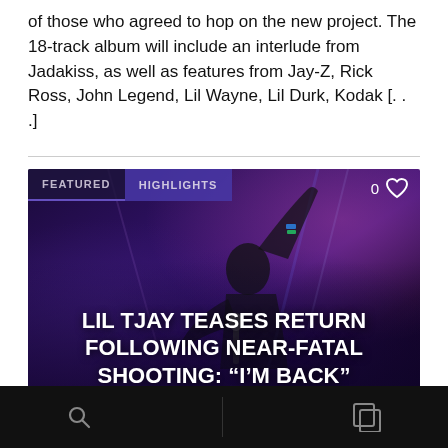of those who agreed to hop on the new project. The 18-track album will include an interlude from Jadakiss, as well as features from Jay-Z, Rick Ross, John Legend, Lil Wayne, Lil Durk, Kodak [...]
[Figure (photo): Music article card with dark purple background showing a performer on stage raising one hand and holding a microphone. Overlay text reads: LIL TJAY TEASES RETURN FOLLOWING NEAR-FATAL SHOOTING: “I’M BACK”. Tags at top: FEATURED and HIGHLIGHTS. Like count: 0. Author: Sweenie Saint Vil.]